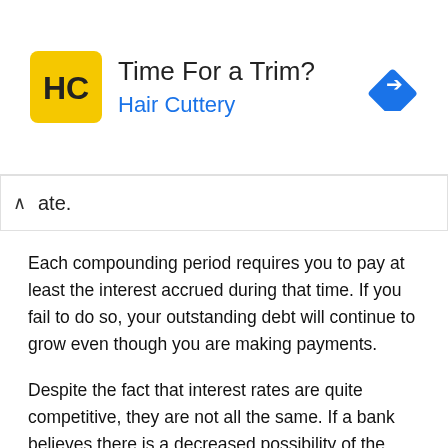[Figure (screenshot): Advertisement banner for Hair Cuttery salon with yellow logo, text 'Time For a Trim? Hair Cuttery', and a blue navigation arrow icon on the right. Ad controls (play/close) on the left edge.]
ate.
Each compounding period requires you to pay at least the interest accrued during that time. If you fail to do so, your outstanding debt will continue to grow even though you are making payments.
Despite the fact that interest rates are quite competitive, they are not all the same. If a bank believes there is a decreased possibility of the debt being repaid, it will impose higher interest rates on the debt.
Loans that has low interest rate
You can get loan that has low interest rate from Friday